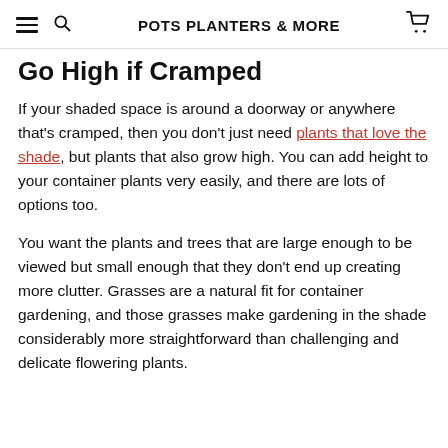POTS PLANTERS & MORE
Go High if Cramped
If your shaded space is around a doorway or anywhere that's cramped, then you don't just need plants that love the shade, but plants that also grow high. You can add height to your container plants very easily, and there are lots of options too.
You want the plants and trees that are large enough to be viewed but small enough that they don't end up creating more clutter. Grasses are a natural fit for container gardening, and those grasses make gardening in the shade considerably more straightforward than challenging and delicate flowering plants.